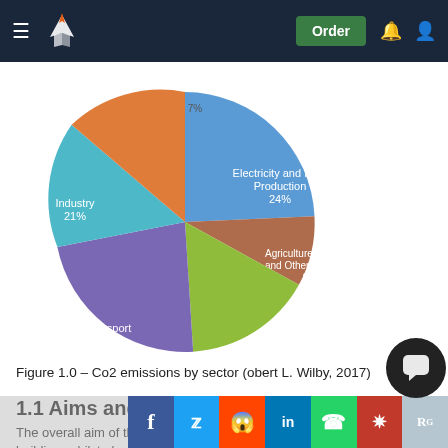Order
[Figure (pie-chart): CO2 emissions by sector]
Figure 1.0 – Co2 emissions by sector (obert L. Wilby, 2017)
1.1 Aims and Objects
The overall aim of the project is to produce a zero-carbon industrial building, whilst also reviewing the feasibility of available measures, with the associated